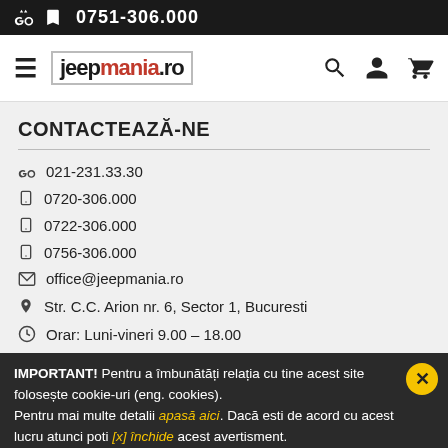0751-306.000
[Figure (logo): Jeepmania.ro logo with hamburger menu, search, account and cart icons]
CONTACTEAZĂ-NE
021-231.33.30
0720-306.000
0722-306.000
0756-306.000
office@jeepmania.ro
Str. C.C. Arion nr. 6, Sector 1, Bucuresti
Orar: Luni-vineri 9.00 – 18.00
IMPORTANT! Pentru a îmbunătăți relația cu tine acest site folosește cookie-uri (eng. cookies). Pentru mai multe detalii apasă aici. Dacă esti de acord cu acest lucru atunci poti [x] închide acest avertisment.